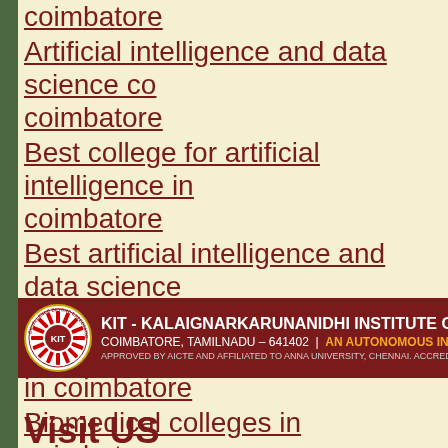coimbatore
Artificial intelligence and data science coimbatore
Best college for artificial intelligence in coimbatore
Best artificial intelligence and data science colleges in coimbatore
Biomedical engineering colleges in coimbatore
Biomedical colleges in coimbatore
[Figure (logo): KIT - Kalaignarkarunanidhi Institute of Technology banner with logo. COIMBATORE, TAMILNADU - 641402 | AN AUTONOMOUS INSTITUTION. APPROVED BY AICTE AND AFFILIATED TO ANNA UNIVERSITY, CHENNAI. ACCREDITED W...]
Visit US